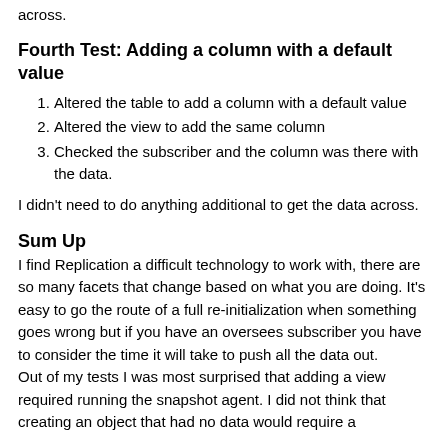across.
Fourth Test: Adding a column with a default value
Altered the table to add a column with a default value
Altered the view to add the same column
Checked the subscriber and the column was there with the data.
I didn't need to do anything additional to get the data across.
Sum Up
I find Replication a difficult technology to work with, there are so many facets that change based on what you are doing. It's easy to go the route of a full re-initialization when something goes wrong but if you have an oversees subscriber you have to consider the time it will take to push all the data out.
Out of my tests I was most surprised that adding a view required running the snapshot agent. I did not think that creating an object that had no data would require a